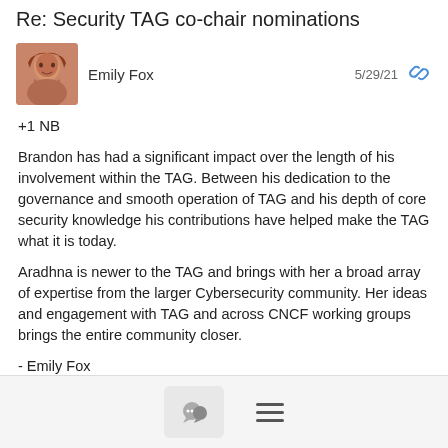Re: Security TAG co-chair nominations
Emily Fox  5/29/21
+1 NB
Brandon has had a significant impact over the length of his involvement within the TAG.  Between his dedication to the governance and smooth operation of TAG and his depth of core security knowledge his contributions have helped make the TAG what it is today.
Aradhna is newer to the TAG and brings with her a broad array of expertise from the larger Cybersecurity community.  Her ideas and engagement with TAG and across CNCF working groups brings the entire community closer.
- Emily Fox